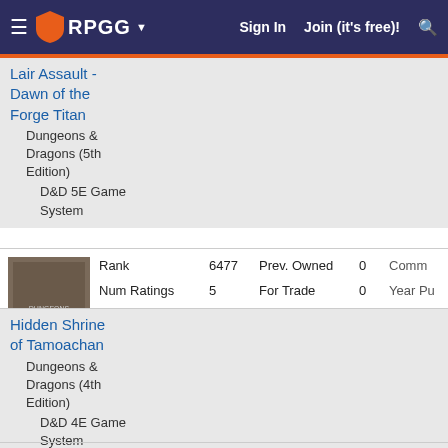RPGG — Sign In   Join (it's free)!
Lair Assault - Dawn of the Forge Titan
Dungeons & Dragons (5th Edition)
D&D 5E Game System
|  | Rank | 6477 | Prev. Owned | 0 | Comm... |
| --- | --- | --- | --- | --- | --- |
|  | Num Ratings | 5 | For Trade | 0 | Year Pu... |
|  | Average Rating | 6.80 | Want in Trade | 4 |  |
|  | Num Owned | 23 | Wishlist | 6 |  |
Hidden Shrine of Tamoachan
Dungeons & Dragons (4th Edition)
D&D 4E Game System
|  | Rank | 0 | Prev. Owned | 0 | Comm... |
| --- | --- | --- | --- | --- | --- |
|  | Num Ratings | 2 | For Trade | 0 | Year Pu... |